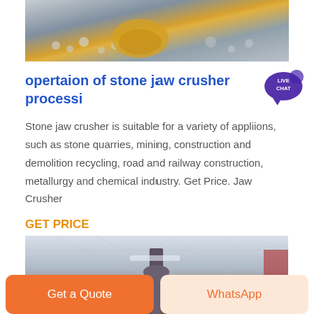[Figure (photo): Top image showing stone crusher machinery with yellow cone and grey stones/gravel]
opertaion of stone jaw crusher processing
Stone jaw crusher is suitable for a variety of appliions, such as stone quarries, mining, construction and demolition recycling, road and railway construction, metallurgy and chemical industry. Get Price. Jaw Crusher
GET PRICE
[Figure (photo): Bottom image showing industrial warehouse interior with cone crusher equipment hanging from ceiling]
Get a Quote
WhatsApp